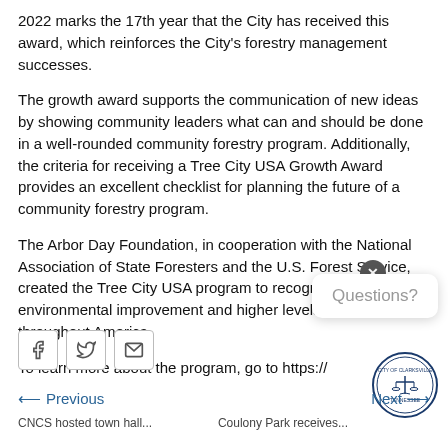2022 marks the 17th year that the City has received this award, which reinforces the City's forestry management successes.
The growth award supports the communication of new ideas by showing community leaders what can and should be done in a well-rounded community forestry program. Additionally, the criteria for receiving a Tree City USA Growth Award provides an excellent checklist for planning the future of a community forestry program.
The Arbor Day Foundation, in cooperation with the National Association of State Foresters and the U.S. Forest Service, created the Tree City USA program to recognize environmental improvement and higher levels of tree care throughout America.
To learn more about the program, go to https://
[Figure (other): Social sharing buttons: Facebook, Twitter, Email]
← Previous
Next →
CNCS hosted town hall...
Coulony Park receives...
[Figure (logo): City of Clarksville Tennessee circular seal logo]